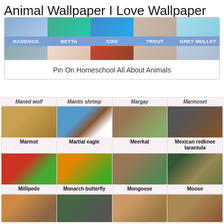Animal Wallpaper I Love Wallpaper
[Figure (screenshot): Fish wallpaper browser showing HADDOCK, BETTA, COD, TROUT, GREY MULLET labels on a blue navigation bar with fish images above and below]
Pin On Homeschool All About Animals
[Figure (screenshot): Animal grid showing: Maned wolf, Mantis shrimp, Margay, Marmoset (header row cut off), then Marmot, Martial eagle, Meerkat, Mexican redknee tarantula, then Millipede, Monarch butterfly, Mongoose, Moose, then partial row at bottom with mosquito, gorilla, mouse, monkey photos]